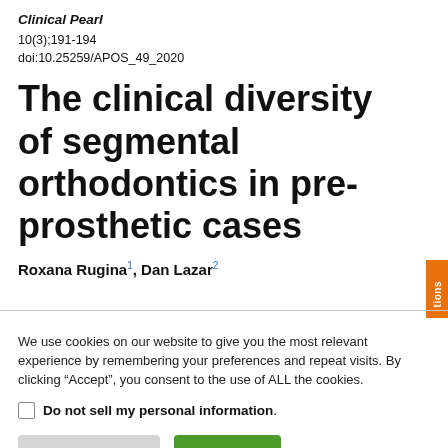Clinical Pearl
10(3);191-194
doi:10.25259/APOS_49_2020
The clinical diversity of segmental orthodontics in pre-prosthetic cases
Roxana Rugina1, Dan Lazar2
We use cookies on our website to give you the most relevant experience by remembering your preferences and repeat visits. By clicking “Accept”, you consent to the use of ALL the cookies.
Do not sell my personal information.
Cookie Settings  Accept